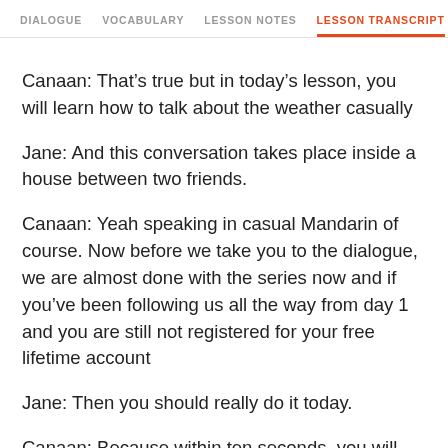DIALOGUE   VOCABULARY   LESSON NOTES   LESSON TRANSCRIPT   C
Canaan: That’s true but in today’s lesson, you will learn how to talk about the weather casually
Jane: And this conversation takes place inside a house between two friends.
Canaan: Yeah speaking in casual Mandarin of course. Now before we take you to the dialogue, we are almost done with the series now and if you’ve been following us all the way from day 1 and you are still not registered for your free lifetime account
Jane: Then you should really do it today.
Canaan: Because within ten seconds, you will have access to all sorts of really great learning tools for